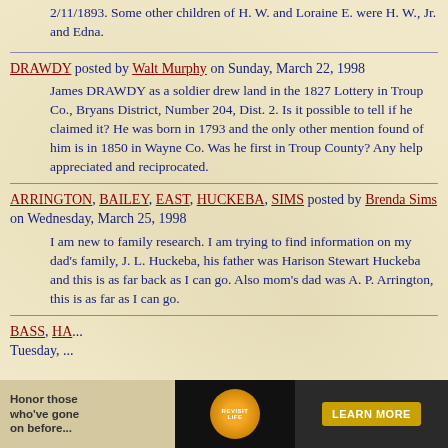2/11/1893. Some other children of H. W. and Loraine E. were H. W., Jr. and Edna.
DRAWDY posted by Walt Murphy on Sunday, March 22, 1998
James DRAWDY as a soldier drew land in the 1827 Lottery in Troup Co., Bryans District, Number 204, Dist. 2. Is it possible to tell if he claimed it? He was born in 1793 and the only other mention found of him is in 1850 in Wayne Co. Was he first in Troup County? Any help appreciated and reciprocated.
ARRINGTON, BAILEY, EAST, HUCKEBA, SIMS posted by Brenda Sims on Wednesday, March 25, 1998
I am new to family research. I am trying to find information on my dad's family, J. L. Huckeba, his father was Harison Stewart Huckeba and this is as far back as I can go. Also mom's dad was A. P. Arrington, this is as far as I can go.
BASS, HA... Tuesday, ... (partial, cut off by ad)
[Figure (other): Advertisement banner: 'Honor those who've gone on before...' with Revisit Life logo and Learn More button]